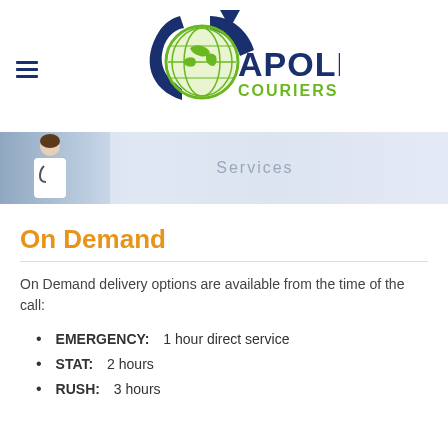[Figure (logo): Apollo Couriers Inc. logo with globe and arrow graphic, dark blue and green colors]
[Figure (photo): Banner image with a female doctor/nurse on the left side and the word 'Services' in gray text on a light blue/gray gradient background]
On Demand
On Demand delivery options are available from the time of the call:
EMERGENCY: 1 hour direct service
STAT: 2 hours
RUSH: 3 hours